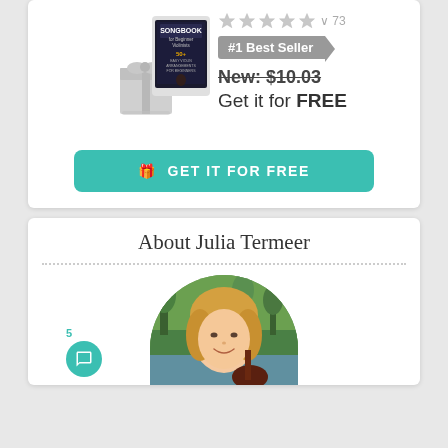[Figure (illustration): Book cover 'Songbook for Beginner Violinists' with 50+ arrangements, shown with a gift box, and product info panel showing star rating (~1 star out of 5), 73 reviews, #1 Best Seller badge, price New: $10.03 crossed out, Get it for FREE text]
73
#1 Best Seller
New: $10.03
Get it for FREE
🎁 GET IT FOR FREE
About Julia Termeer
[Figure (photo): Circular cropped photo of Julia Termeer, a blonde woman smiling and holding a violin, outdoors with trees and water in background]